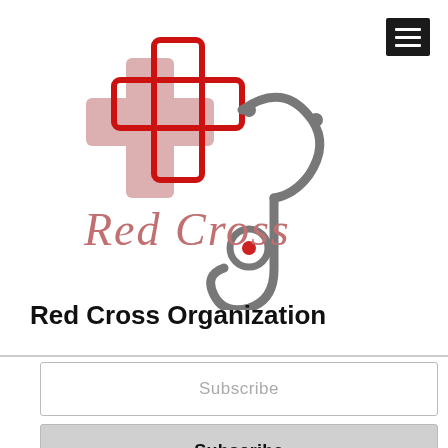[Figure (logo): Red Cross Organization logo: two overlapping medical cross symbols (one red outline, one muted rose/pink), combined with a gray stethoscope graphic. Text 'Red Cross' in pink/rose serif font beneath the crosses.]
Red Cross Organization
Subscribe
Subscribe